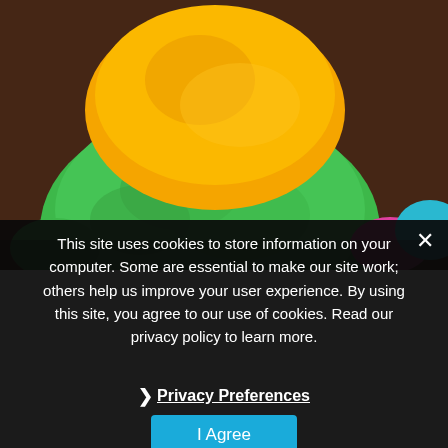[Figure (photo): Close-up photo of colorful play dough balls stacked on each other: orange on top of green, with pink and blue/teal dough visible in the background against a brown wooden surface.]
This site uses cookies to store information on your computer. Some are essential to make our site work; others help us improve your user experience. By using this site, you agree to our use of cookies. Read our privacy policy to learn more.
› Privacy Preferences
I Agree